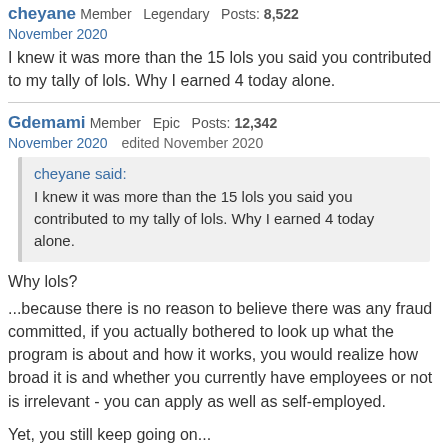cheyane Member Legendary Posts: 8,522
November 2020
I knew it was more than the 15 lols you said you contributed to my tally of lols. Why I earned 4 today alone.
Gdemami Member Epic Posts: 12,342
November 2020   edited November 2020
cheyane said:
I knew it was more than the 15 lols you said you contributed to my tally of lols. Why I earned 4 today alone.
Why lols?
...because there is no reason to believe there was any fraud committed, if you actually bothered to look up what the program is about and how it works, you would realize how broad it is and whether you currently have employees or not is irrelevant - you can apply as well as self-employed.
Yet, you still keep going on...